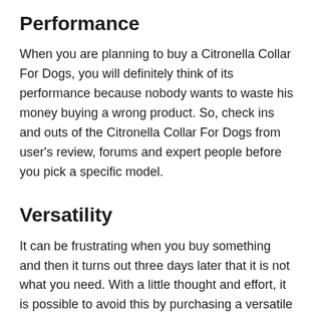Performance
When you are planning to buy a Citronella Collar For Dogs, you will definitely think of its performance because nobody wants to waste his money buying a wrong product. So, check ins and outs of the Citronella Collar For Dogs from user's review, forums and expert people before you pick a specific model.
Versatility
It can be frustrating when you buy something and then it turns out three days later that it is not what you need. With a little thought and effort, it is possible to avoid this by purchasing a versatile product that has multiple uses. You can use one